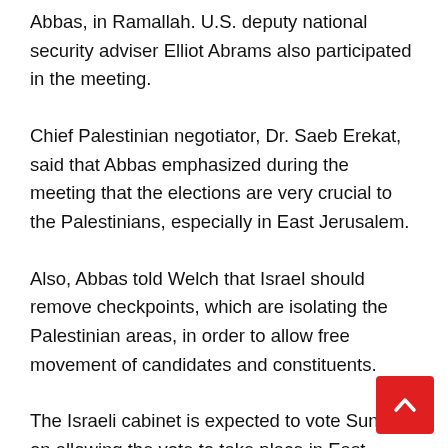Abbas, in Ramallah. U.S. deputy national security adviser Elliot Abrams also participated in the meeting.
Chief Palestinian negotiator, Dr. Saeb Erekat, said that Abbas emphasized during the meeting that the elections are very crucial to the Palestinians, especially in East Jerusalem.
Also, Abbas told Welch that Israel should remove checkpoints, which are isolating the Palestinian areas, in order to allow free movement of candidates and constituents.
The Israeli cabinet is expected to vote Sunday on allowing the vote to take place in East Jerusalem at post offices. Israeli online daily